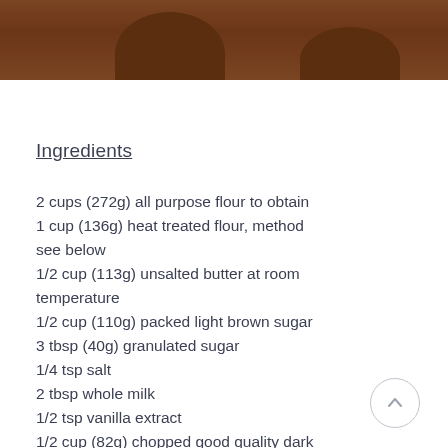[Figure (photo): Chocolate-covered treats/cookies photographed from above, showing dark brown glossy chocolate coating, partially cropped at top of page.]
Ingredients
2 cups (272g) all purpose flour to obtain
1 cup (136g) heat treated flour, method see below
1/2 cup (113g) unsalted butter at room temperature
1/2 cup (110g) packed light brown sugar
3 tbsp (40g) granulated sugar
1/4 tsp salt
2 tbsp whole milk
1/2 tsp vanilla extract
1/2 cup (82g) chopped good quality dark chocolate
2 cups (320 g) semisweet chocolate